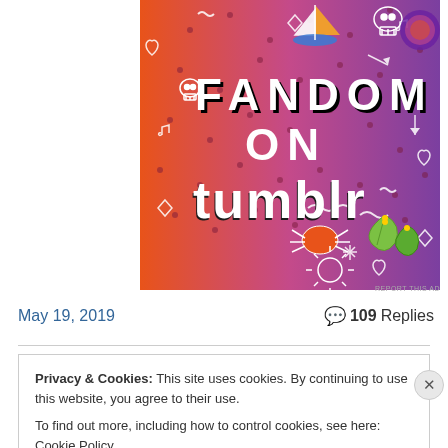[Figure (illustration): Tumblr 'Fandom on Tumblr' advertisement banner with colorful orange-to-purple gradient background, featuring white outlined doodles (skull, boat, spider, leaves, music notes, arrows, hearts, diamonds), bold white text 'FANDOM ON' and black rounded text 'tumblr']
REPORT THIS AD
May 19, 2019
💬 109 Replies
Privacy & Cookies: This site uses cookies. By continuing to use this website, you agree to their use.
To find out more, including how to control cookies, see here: Cookie Policy
Close and accept